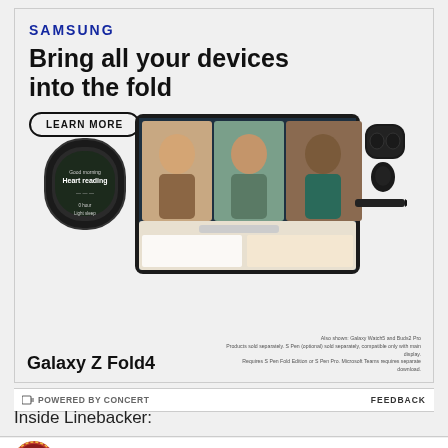[Figure (advertisement): Samsung Galaxy Z Fold4 advertisement showing 'Bring all your devices into the fold' with Samsung logo, LEARN MORE button, and product images of the Galaxy Z Fold4 phone, Galaxy Watch5, Buds2 Pro. Also shown: Galaxy Watch5 and Buds2 Pro. Disclaimer text about products sold separately.]
POWERED BY CONCERT    FEEDBACK
Inside Linebacker:
[Figure (logo): Circular red team logo with sports emblem at bottom left, Twitter bird icon and Facebook 'f' icon on the right]